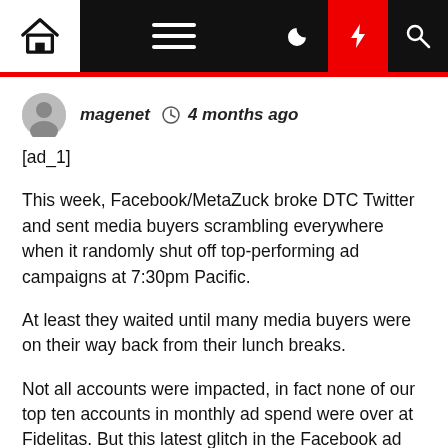magenet · 4 months ago — navigation bar with home, menu, dark mode, flash, and search icons
[ad_1]
This week, Facebook/MetaZuck broke DTC Twitter and sent media buyers scrambling everywhere when it randomly shut off top-performing ad campaigns at 7:30pm Pacific.
At least they waited until many media buyers were on their way back from their lunch breaks.
Not all accounts were impacted, in fact none of our top ten accounts in monthly ad spend were over at Fidelitas. But this latest glitch in the Facebook ad machine taken into consideration with the ongoing issues around attribution, ad approvals, and account disruptions, raises the question: are media buyers...